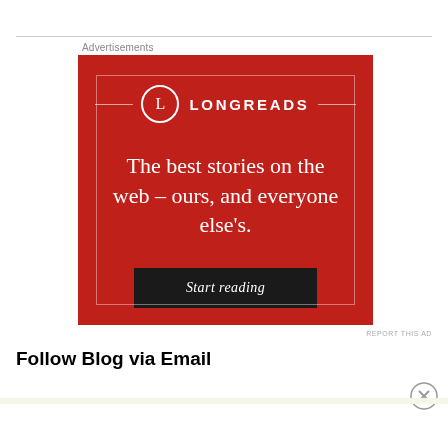Advertisements
[Figure (illustration): Longreads advertisement banner with red background. Contains the Longreads logo (circle with L), tagline 'The best stories on the web – ours, and everyone else's.' and a 'Start reading' button.]
REPORT THIS AD
Follow Blog via Email
Advertisements
Professionally designed sites in less than a week
[Figure (logo): WordPress logo]